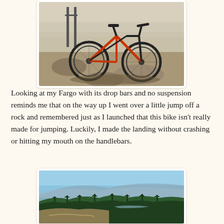[Figure (photo): A mountain bike (Fargo) with drop bars leaning on rocky terrain, with a dry hillside and valley visible in the background under a hazy sky.]
Looking at my Fargo with its drop bars and no suspension reminds me that on the way up I went over a little jump off a rock and remembered just as I launched that this bike isn’t really made for jumping. Luckily, I made the landing without crashing or hitting my mouth on the handlebars.
[Figure (photo): A panoramic landscape view from a hilltop showing a wide valley with evergreen forest, dry grassland, a river or lake in the middle distance, and mountains under a clear blue sky.]